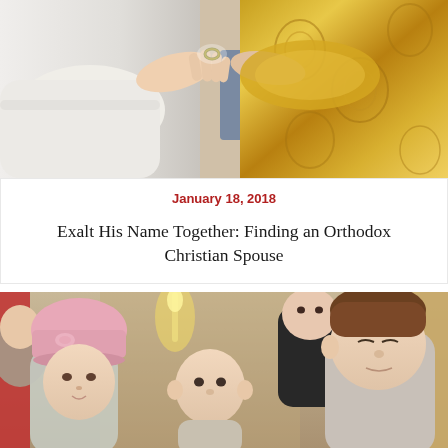[Figure (photo): Close-up photo of an Orthodox Christian wedding ceremony ring exchange. A person in a white sleeve extends their hand while a priest in ornate gold vestments places a ring on their finger. Blue background visible behind.]
January 18, 2018
Exalt His Name Together: Finding an Orthodox Christian Spouse
[Figure (photo): Photo of children in an Orthodox Christian church interior. A girl wearing a pink knit hat, a small child, and an older boy are visible in the foreground. A man in a black jacket stands in the background. Church columns and candles are visible.]